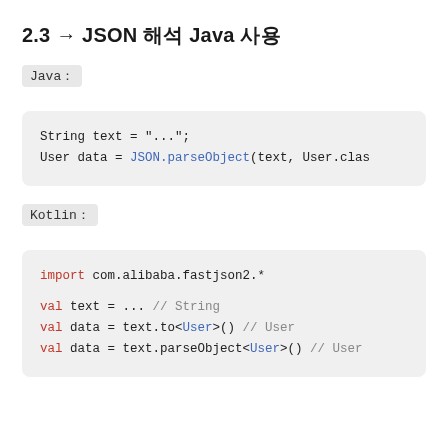2.3 → JSON 해석 Java 사용
Java：
String text = "...";
User data = JSON.parseObject(text, User.clas
Kotlin：
import com.alibaba.fastjson2.*

val text = ... // String
val data = text.to<User>() // User
val data = text.parseObject<User>() // User